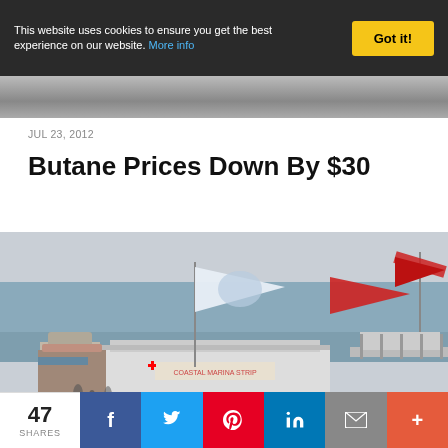This website uses cookies to ensure you get the best experience on our website. More info
JUL 23, 2012
Butane Prices Down By $30
[Figure (photo): Coastal marina with flags flying including a white flag with a shark/marine emblem and red flags, waterfront building with sign, boats docked, ocean in background]
47 SHARES
f (Facebook share)
Twitter share
Pinterest share
LinkedIn share
Email share
+ (More share options)